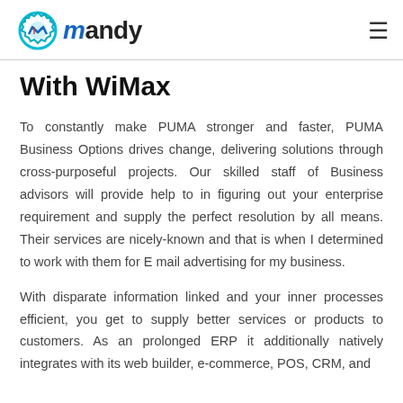mandy
With WiMax
To constantly make PUMA stronger and faster, PUMA Business Options drives change, delivering solutions through cross-purposeful projects. Our skilled staff of Business advisors will provide help to in figuring out your enterprise requirement and supply the perfect resolution by all means. Their services are nicely-known and that is when I determined to work with them for E mail advertising for my business.
With disparate information linked and your inner processes efficient, you get to supply better services or products to customers. As an prolonged ERP it additionally natively integrates with its web builder, e-commerce, POS, CRM, and